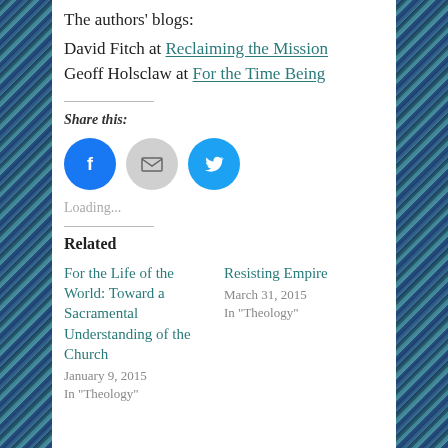The authors' blogs:
David Fitch at Reclaiming the Mission
Geoff Holsclaw at For the Time Being
Share this:
[Figure (infographic): Three circular social sharing buttons: Facebook (blue, f icon), Email (gray, envelope icon), Twitter (light blue, bird icon)]
Loading...
Related
For the Life of the World: Toward a Sacramental Understanding of the Church
January 9, 2015
In "Theology"
Resisting Empire
March 31, 2015
In "Theology"